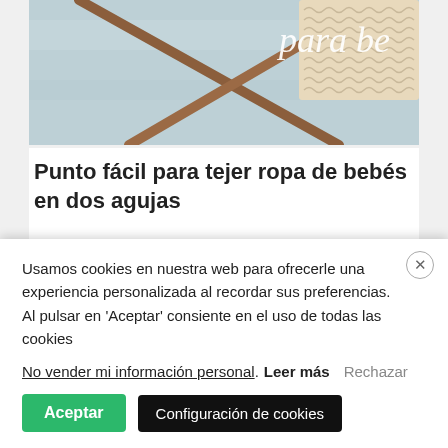[Figure (photo): Photo of wooden knitting needles crossed on a light blue/grey background with a knitted beige fabric swatch, with white text 'para be' visible in top right corner]
Punto fácil para tejer ropa de bebés en dos agujas
Hoy, un punto para tejer ropa de bebé, fácil (sólo 2 vueltas y 2 pasos), con textura y el patrón para una
Usamos cookies en nuestra web para ofrecerle una experiencia personalizada al recordar sus preferencias. Al pulsar en 'Aceptar' consiente en el uso de todas las cookies
No vender mi información personal. Leer más Rechazar
Aceptar  Configuración de cookies